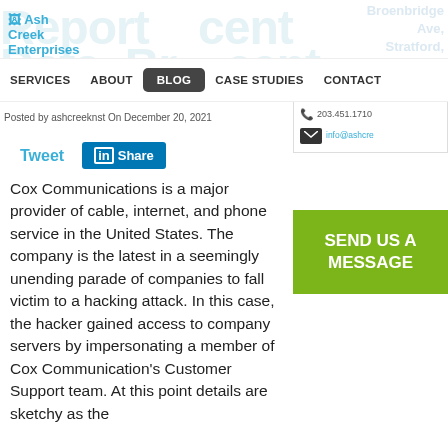Ash Creek Enterprises
SERVICES  ABOUT  BLOG  CASE STUDIES  CONTACT
Posted by ashcreeknst On December 20, 2021
Tweet  Share
Cox Communications is a major provider of cable, internet, and phone service in the United States.  The company is the latest in a seemingly unending parade of companies to fall victim to a hacking attack. In this case, the hacker gained access to company servers by impersonating a member of Cox Communication's Customer Support team.  At this point details are sketchy as the